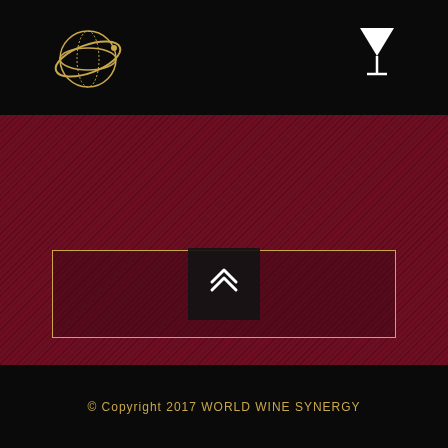[Figure (logo): World Wine Synergy globe/orbital logo in gold tones on black background]
[Figure (illustration): White martini/cocktail glass icon in top right corner]
[Figure (other): Empty text area input box with gold border on dark red background]
SEND
[Figure (other): Scroll to top button with double chevron up arrows on dark background]
© Copyright 2017 WORLD WINE SYNERGY